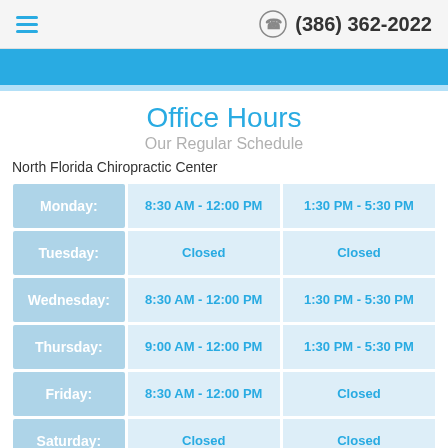≡  (386) 362-2022
Office Hours
Our Regular Schedule
North Florida Chiropractic Center
| Day | Morning | Afternoon |
| --- | --- | --- |
| Monday: | 8:30 AM - 12:00 PM | 1:30 PM - 5:30 PM |
| Tuesday: | Closed | Closed |
| Wednesday: | 8:30 AM - 12:00 PM | 1:30 PM - 5:30 PM |
| Thursday: | 9:00 AM - 12:00 PM | 1:30 PM - 5:30 PM |
| Friday: | 8:30 AM - 12:00 PM | Closed |
| Saturday: | Closed | Closed |